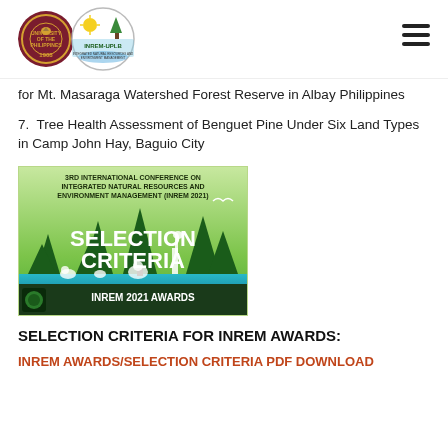University of the Philippines / INREM-UPLB logos
for Mt. Masaraga Watershed Forest Reserve in Albay Philippines
7. Tree Health Assessment of Benguet Pine Under Six Land Types in Camp John Hay, Baguio City
[Figure (illustration): 3rd International Conference on Integrated Natural Resources and Environment Management (INREM 2021) - Selection Criteria banner image with wildlife silhouettes and INREM 2021 Awards text]
SELECTION CRITERIA FOR INREM AWARDS:
INREM AWARDS/SELECTION CRITERIA PDF DOWNLOAD